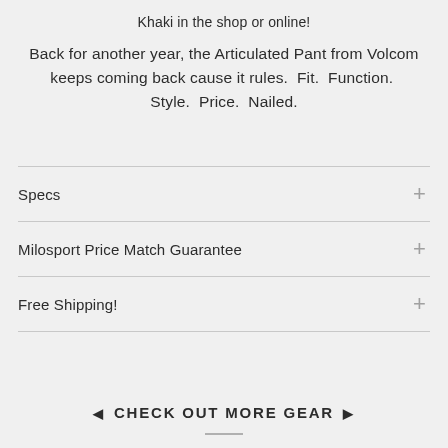Khaki in the shop or online!
Back for another year, the Articulated Pant from Volcom keeps coming back cause it rules.  Fit.  Function.  Style.  Price.  Nailed.
Specs
Milosport Price Match Guarantee
Free Shipping!
◄ CHECK OUT MORE GEAR ►